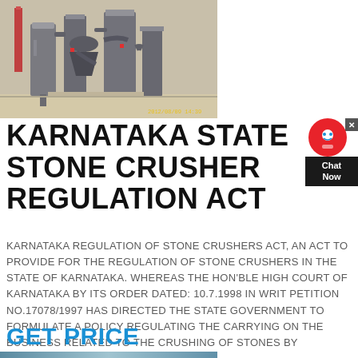[Figure (photo): Industrial stone crusher machinery with silos, pipes, and conveyor structures against a sandy/hazy background. Timestamp visible at bottom right: 2012/08/09 14:39]
KARNATAKA STATE STONE CRUSHER REGULATION ACT
KARNATAKA REGULATION OF STONE CRUSHERS ACT, AN ACT TO PROVIDE FOR THE REGULATION OF STONE CRUSHERS IN THE STATE OF KARNATAKA. WHEREAS THE HON'BLE HIGH COURT OF KARNATAKA BY ITS ORDER DATED: 10.7.1998 IN WRIT PETITION NO.17078/1997 HAS DIRECTED THE STATE GOVERNMENT TO FORMULATE A POLICY REGULATING THE CARRYING ON THE BUSINESS RELATED TO THE CRUSHING OF STONES BY PRESCRIBING REASONABLE
GET PRICE